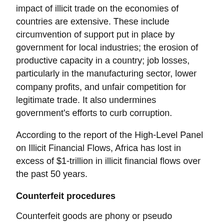impact of illicit trade on the economies of countries are extensive. These include circumvention of support put in place by government for local industries; the erosion of productive capacity in a country; job losses, particularly in the manufacturing sector, lower company profits, and unfair competition for legitimate trade. It also undermines government's efforts to curb corruption.
According to the report of the High-Level Panel on Illicit Financial Flows, Africa has lost in excess of $1-trillion in illicit financial flows over the past 50 years.
Counterfeit procedures
Counterfeit goods are phony or pseudo products offered for sale and distributed within the trade supply chain as authentic goods. Counterfeit procedures have evolved from a localised industry concentrated on copying high-end designer goods, to a sophisticated global business involving the mass production and sale of a vast array of base goods.